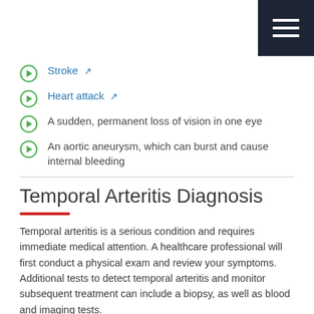Navigation menu icon
Stroke
Heart attack
A sudden, permanent loss of vision in one eye
An aortic aneurysm, which can burst and cause internal bleeding
Temporal Arteritis Diagnosis
Temporal arteritis is a serious condition and requires immediate medical attention. A healthcare professional will first conduct a physical exam and review your symptoms. Additional tests to detect temporal arteritis and monitor subsequent treatment can include a biopsy, as well as blood and imaging tests.
A biopsy is an outpatient procedure that utilizes local anesthesia and produces minimal scarring or discomfort. During the